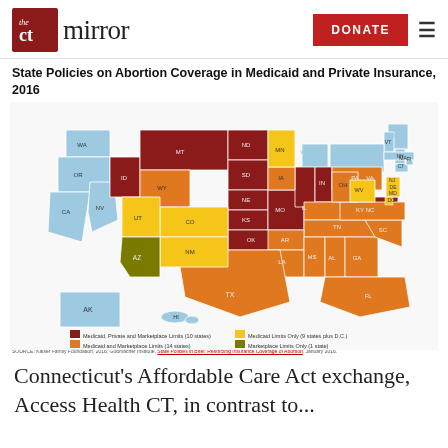the CT mirror — DONATE
State Policies on Abortion Coverage in Medicaid and Private Insurance, 2016
[Figure (map): US choropleth map showing state policies on abortion coverage in Medicaid and private insurance, 2016. States colored by category: dark red = Medicaid, Private and Marketplace Limits (10 states); orange = Medicaid and Marketplace Limits (14 states); light blue = No Restrictions (16 states); yellow = Medicaid Limits Only (9 states plus D.C.); olive/dark yellow = Marketplace Limits Only (1 state). Legend and Kaiser Family Foundation logo shown below map. SOURCE: Kaiser Family Foundation, 2016; Guttmacher Institute, State Policies in Brief: Restricting Insurance Coverage of Abortion, January 2016.]
Connecticut's Affordable Care Act exchange,